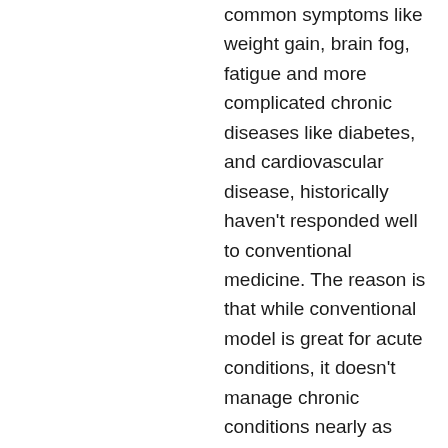common symptoms like weight gain, brain fog, fatigue and more complicated chronic diseases like diabetes, and cardiovascular disease, historically haven't responded well to conventional medicine. The reason is that while conventional model is great for acute conditions, it doesn't manage chronic conditions nearly as well. And worse still, the U.S. health care model is set up to treat chronic conditions with an acute condition model. Where conventional medicine looks at one condition, one cause, functional medicine realizes that one